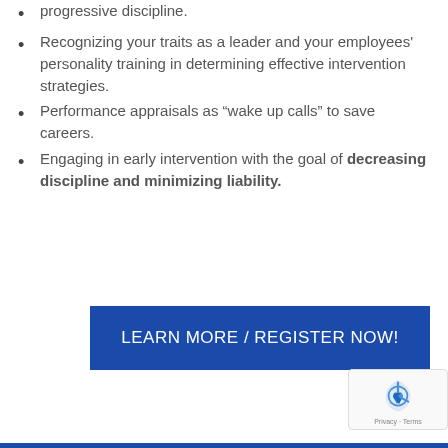progressive discipline.
Recognizing your traits as a leader and your employees' personality training in determining effective intervention strategies.
Performance appraisals as “wake up calls” to save careers.
Engaging in early intervention with the goal of decreasing discipline and minimizing liability.
[Figure (other): Blue button with white text reading LEARN MORE / REGISTER NOW!]
[Figure (logo): reCAPTCHA logo with Privacy and Terms text]